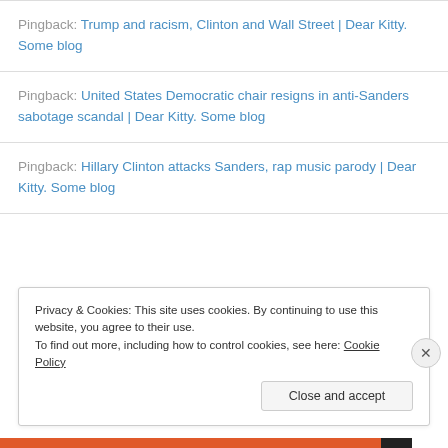Pingback: Trump and racism, Clinton and Wall Street | Dear Kitty. Some blog
Pingback: United States Democratic chair resigns in anti-Sanders sabotage scandal | Dear Kitty. Some blog
Pingback: Hillary Clinton attacks Sanders, rap music parody | Dear Kitty. Some blog
Privacy & Cookies: This site uses cookies. By continuing to use this website, you agree to their use.
To find out more, including how to control cookies, see here: Cookie Policy